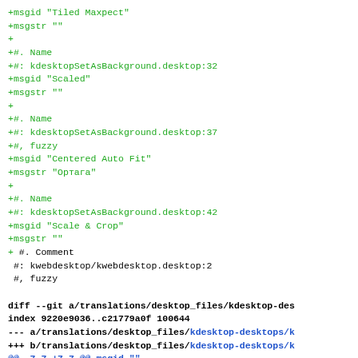+msgid "Tiled Maxpect"
+msgstr ""
+
+#. Name
+#: kdesktopSetAsBackground.desktop:32
+msgid "Scaled"
+msgstr ""
+
+#. Name
+#: kdesktopSetAsBackground.desktop:37
+#, fuzzy
+msgid "Centered Auto Fit"
+msgstr "Ортага"
+
+#. Name
+#: kdesktopSetAsBackground.desktop:42
+msgid "Scale & Crop"
+msgstr ""
+
 #. Comment
 #: kwebdesktop/kwebdesktop.desktop:2
 #, fuzzy

diff --git a/translations/desktop_files/kdesktop-des
index 9220e9036..c21779a0f 100644
--- a/translations/desktop_files/kdesktop-desktops/k
+++ b/translations/desktop_files/kdesktop-desktops/k
@@ -7,7 +7,7 @@ msgid ""
 msgstr ""
 "Project-Id-Version: PACKAGE VERSION\n"